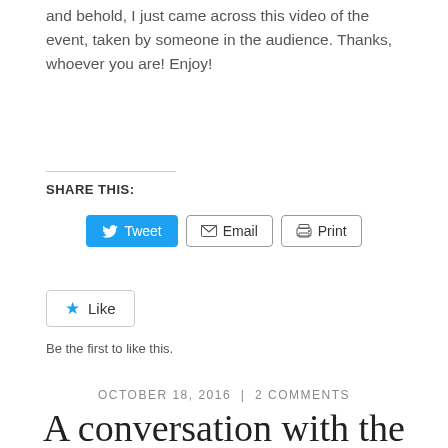and behold, I just came across this video of the event, taken by someone in the audience. Thanks, whoever you are! Enjoy!
SHARE THIS:
[Figure (screenshot): Social sharing buttons: Tweet (blue Twitter button), Email (button with envelope icon), Print (button with printer icon)]
[Figure (screenshot): Like button with blue star icon and text 'Like']
Be the first to like this.
OCTOBER 18, 2016  |  2 COMMENTS
A conversation with the